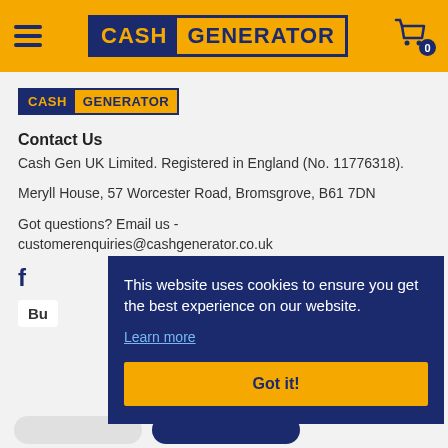[Figure (logo): Cash Generator logo in the top navigation bar — CASH in dark blue on yellow background, GENERATOR in yellow on dark blue background]
[Figure (logo): Cash Generator logo smaller version in page content area]
Contact Us
Cash Gen UK Limited. Registered in England (No. 11776318).
Meryll House, 57 Worcester Road, Bromsgrove, B61 7DN
Got questions? Email us - customerenquiries@cashgenerator.co.uk
This website uses cookies to ensure you get the best experience on our website.
Learn more
Got it!